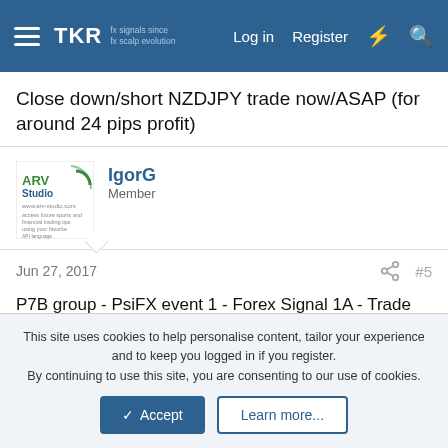TKR  Log in  Register
Close down/short NZDJPY trade now/ASAP (for around 24 pips profit)
IgorG
Member
Jun 27, 2017  #5
P7B group - PsiFX event 1 - Forex Signal 1A - Trade result
A down/short NZDJPY trade which was opened at 12:05 CT and closed at 12:53 CT resulted as: 24.4 pips winning trade for a 78.66 EUR of profit
This site uses cookies to help personalise content, tailor your experience and to keep you logged in if you register.
By continuing to use this site, you are consenting to our use of cookies.